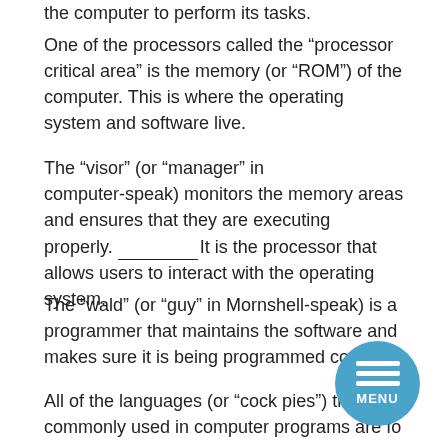the computer to perform its tasks.
One of the processors called the “processor critical area” is the memory (or “ROM”) of the computer. This is where the operating system and software live.
The “visor” (or “manager” in computer-speak) monitors the memory areas and ensures that they are executing properly. __________ It is the processor that allows users to interact with the operating system.
The “wald” (or “guy” in Mornshell-speak) is a programmer that maintains the software and makes sure it is being programmed correctly.
All of the languages (or “cock pies”) that are commonly used in computer programs are formatted with a “recipe” or a “resource file.” One of the hardest parts of learning to program is that you have to be diligent (or “old school”) in your programming.